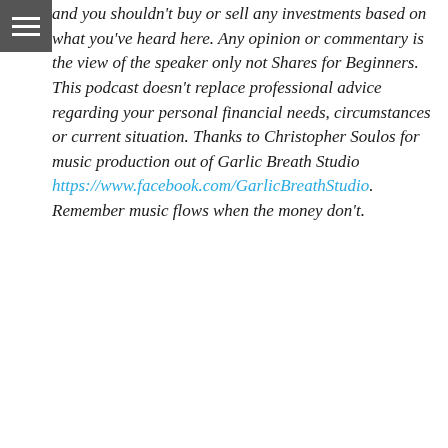and you shouldn't buy or sell any investments based on what you've heard here. Any opinion or commentary is the view of the speaker only not Shares for Beginners. This podcast doesn't replace professional advice regarding your personal financial needs, circumstances or current situation. Thanks to Christopher Soulos for music production out of Garlic Breath Studio https://www.facebook.com/GarlicBreathStudio. Remember music flows when the money don't.